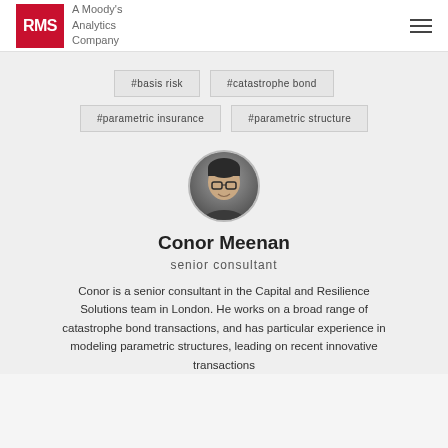[Figure (logo): RMS logo - red square with white RMS text, next to 'A Moody's Analytics Company' text in gray]
#basis risk
#catastrophe bond
#parametric insurance
#parametric structure
[Figure (photo): Circular headshot photo of Conor Meenan, a man wearing glasses]
Conor Meenan
senior consultant
Conor is a senior consultant in the Capital and Resilience Solutions team in London. He works on a broad range of catastrophe bond transactions, and has particular experience in modeling parametric structures, leading on recent innovative transactions